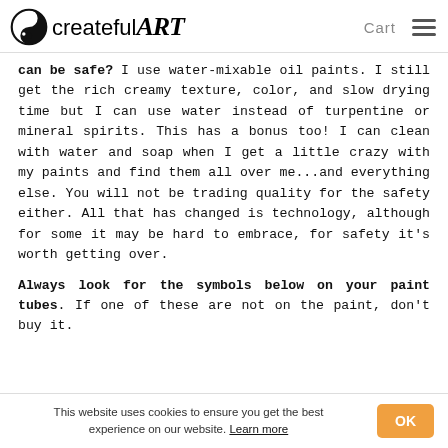createfulART — Cart
can be safe? I use water-mixable oil paints. I still get the rich creamy texture, color, and slow drying time but I can use water instead of turpentine or mineral spirits. This has a bonus too! I can clean with water and soap when I get a little crazy with my paints and find them all over me...and everything else. You will not be trading quality for the safety either. All that has changed is technology, although for some it may be hard to embrace, for safety it's worth getting over.
Always look for the symbols below on your paint tubes. If one of these are not on the paint, don't buy it.
This website uses cookies to ensure you get the best experience on our website. Learn more